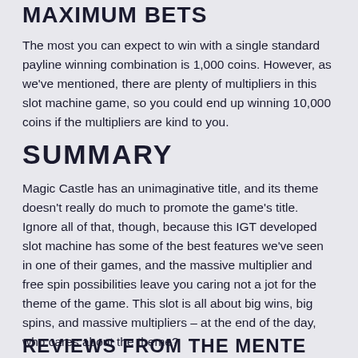MAXIMUM BETS
The most you can expect to win with a single standard payline winning combination is 1,000 coins. However, as we've mentioned, there are plenty of multipliers in this slot machine game, so you could end up winning 10,000 coins if the multipliers are kind to you.
SUMMARY
Magic Castle has an unimaginative title, and its theme doesn't really do much to promote the game's title. Ignore all of that, though, because this IGT developed slot machine has some of the best features we've seen in one of their games, and the massive multiplier and free spin possibilities leave you caring not a jot for the theme of the game. This slot is all about big wins, big spins, and massive multipliers – at the end of the day, who cares about the theme?
REVIEWS FROM THE MENTE